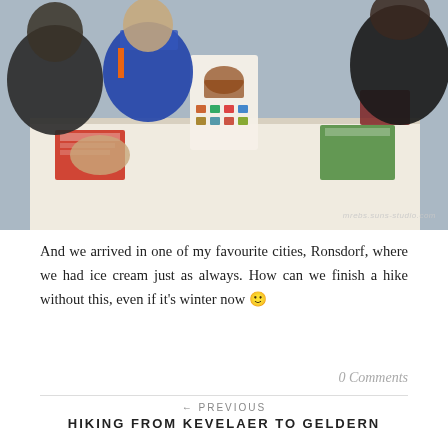[Figure (photo): People sitting around a white table with colorful menus/brochures and a coffee menu stand in the center, watermark reads 'mrebs.suns-studio.com']
And we arrived in one of my favourite cities, Ronsdorf, where we had ice cream just as always. How can we finish a hike without this, even if it's winter now 🙂
0 Comments
← PREVIOUS
HIKING FROM KEVELAER TO GELDERN
NEWER →
HIKING AROUND UNIVERSITY OF BOCHUM